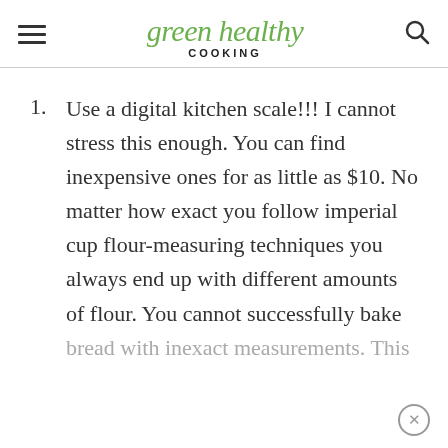green healthy COOKING
Use a digital kitchen scale!!! I cannot stress this enough. You can find inexpensive ones for as little as $10. No matter how exact you follow imperial cup flour-measuring techniques you always end up with different amounts of flour. You cannot successfully bake bread with inexact measurements. This